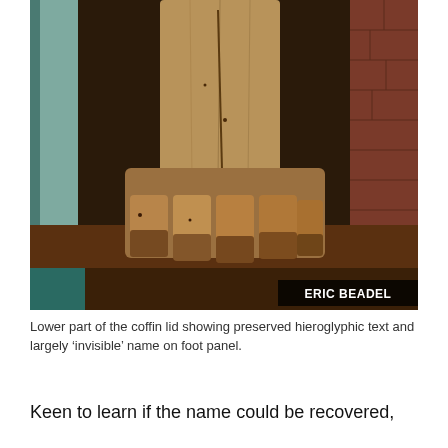[Figure (photo): Lower part of an ancient wooden coffin lid showing preserved hieroglyphic text and foot panel, displayed inside a wooden cabinet. A credit overlay reads 'ERIC BEADEL'.]
Lower part of the coffin lid showing preserved hieroglyphic text and largely ‘invisible’ name on foot panel.
Keen to learn if the name could be recovered,